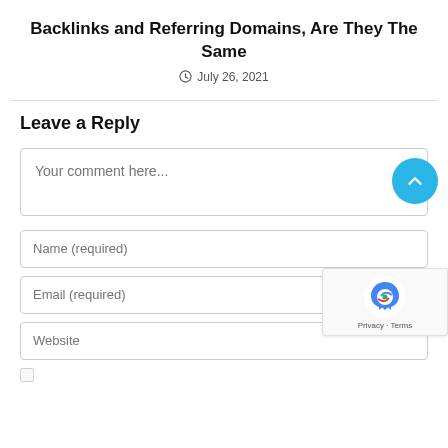Backlinks and Referring Domains, Are They The Same
July 26, 2021
Leave a Reply
Your comment here...
Name (required)
Email (required)
Website